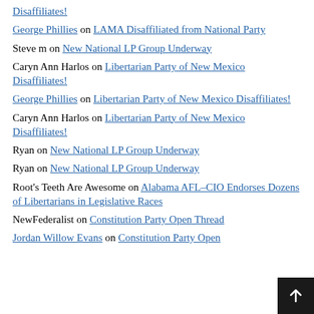Disaffiliates!
George Phillies on LAMA Disaffiliated from National Party
Steve m on New National LP Group Underway
Caryn Ann Harlos on Libertarian Party of New Mexico Disaffiliates!
George Phillies on Libertarian Party of New Mexico Disaffiliates!
Caryn Ann Harlos on Libertarian Party of New Mexico Disaffiliates!
Ryan on New National LP Group Underway
Ryan on New National LP Group Underway
Root's Teeth Are Awesome on Alabama AFL–CIO Endorses Dozens of Libertarians in Legislative Races
NewFederalist on Constitution Party Open Thread
Jordan Willow Evans on Constitution Party Open Thread